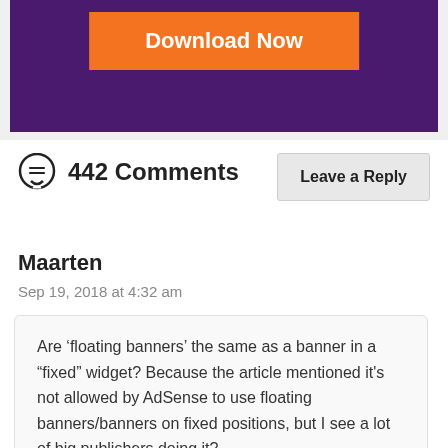[Figure (other): Purple banner advertisement with orange 'Download Now' button]
442 Comments
Leave a Reply
Maarten
Sep 19, 2018 at 4:32 am
Are ‘floating banners’ the same as a banner in a “fixed” widget? Because the article mentioned it's not allowed by AdSense to use floating banners/banners on fixed positions, but I see a lot of big publishers doing it?